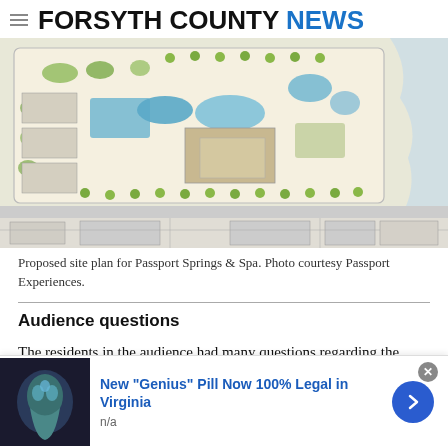FORSYTH COUNTY NEWS
[Figure (engineering-diagram): Proposed site plan / architectural drawing of Passport Springs & Spa showing a top-down layout with pools, buildings, landscaping, parking areas, and surrounding roads. Colorful illustrated plan with trees, pool areas, and building footprints.]
Proposed site plan for Passport Springs & Spa. Photo courtesy Passport Experiences.
Audience questions
The residents in the audience had many questions regarding the
[Figure (screenshot): Advertisement banner: 'New "Genius" Pill Now 100% Legal in Virginia' with image on left, text in center, and a blue arrow button on right. Subtitle: n/a]